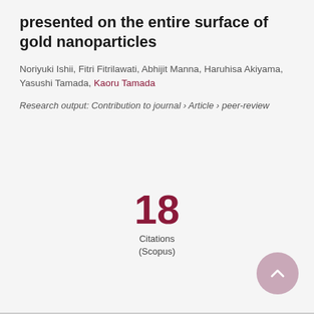presented on the entire surface of gold nanoparticles
Noriyuki Ishii, Fitri Fitrilawati, Abhijit Manna, Haruhisa Akiyama, Yasushi Tamada, Kaoru Tamada
Research output: Contribution to journal › Article › peer-review
18
Citations
(Scopus)